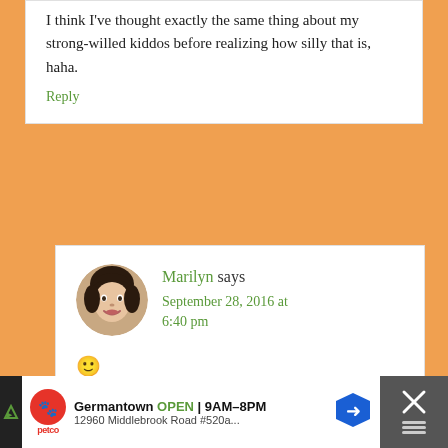I think I've thought exactly the same thing about my strong-willed kiddos before realizing how silly that is, haha.
Reply
[Figure (photo): Round avatar photo of Marilyn, a woman smiling]
Marilyn says
September 28, 2016 at 6:40 pm
🙂
Reply
[Figure (other): Ad bar at the bottom: Petco Germantown OPEN 9AM–8PM, 12960 Middlebrook Road #520a..., with close button]